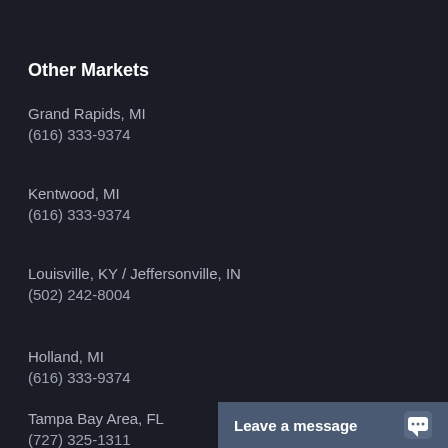Other Markets
Grand Rapids, MI
(616) 333-9374
Kentwood, MI
(616) 333-9374
Louisville, KY / Jeffersonville, IN
(502) 242-8004
Holland, MI
(616) 333-9374
Tampa Bay Area, FL
(727) 325-1311
Leave a message